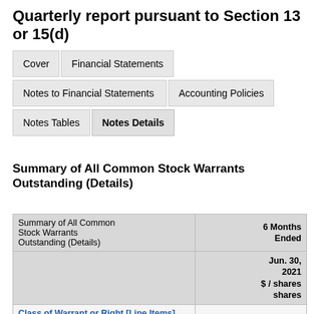Quarterly report pursuant to Section 13 or 15(d)
|  |  |
| --- | --- |
| Cover | Financial Statements |
| Notes to Financial Statements | Accounting Policies |
| Notes Tables | Notes Details |
Summary of All Common Stock Warrants Outstanding (Details)
| Summary of All Common Stock Warrants Outstanding (Details) | 6 Months Ended
Jun. 30, 2021
$ / shares
shares |
| --- | --- |
| Class of Warrant or Right [Line Items] |  |
| Outstanding Warrants | shares | 2,301,576 |